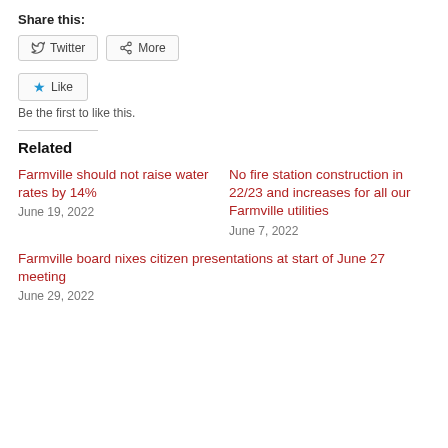Share this:
[Figure (other): Twitter and More share buttons]
[Figure (other): Like button with star icon]
Be the first to like this.
Related
Farmville should not raise water rates by 14%
June 19, 2022
No fire station construction in 22/23 and increases for all our Farmville utilities
June 7, 2022
Farmville board nixes citizen presentations at start of June 27 meeting
June 29, 2022